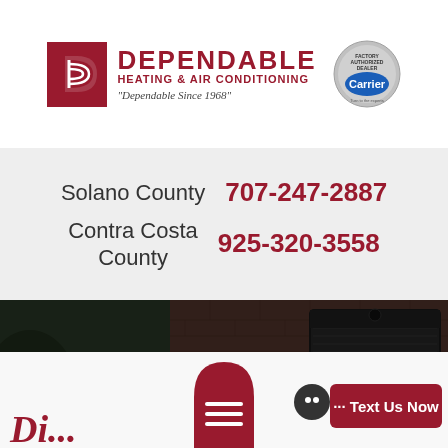[Figure (logo): Dependable Heating & Air Conditioning logo with red D icon, company name in dark red, tagline 'Dependable Since 1968', and Carrier Factory Authorized Dealer badge]
Solano County 707-247-2887
Contra Costa County 925-320-3558
[Figure (photo): Hero image showing an outdoor AC unit against a brick wall with dark overlay, text 'AC Installation' and 'Dependable Since 1968']
Di... AC I...
... Text Us Now